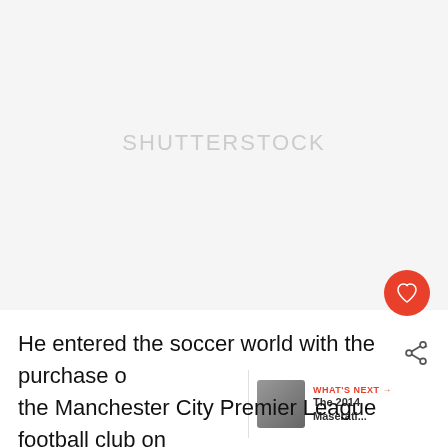[Figure (photo): Large image area (mostly white/blank) occupying upper portion of the page, with a faint watermark text in the center]
He entered the soccer world with the purchase of the Manchester City Premier League football club on the 1st of September 2008 for a reported million pounds and this led to a lot of talk and rumors